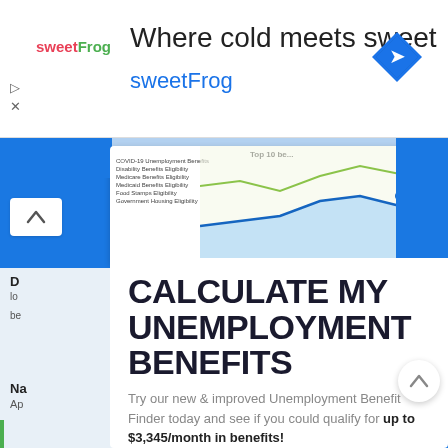[Figure (screenshot): SweetFrog advertisement banner: 'Where cold meets sweet / sweetFrog' with logo and navigation icon]
[Figure (screenshot): Web page screenshot showing a list of top benefits topics (COVID-19 Unemployment Benefits, Disability Benefits Eligibility, Medicare Benefits Eligibility, Medicaid Benefits Eligibility, Food Stamps Eligibility, Government Housing Eligibility) alongside a line chart with blue and green trend lines]
CALCULATE MY UNEMPLOYMENT BENEFITS
Try our new & improved Unemployment Benefit Finder today and see if you could qualify for up to $3,345/month in benefits!